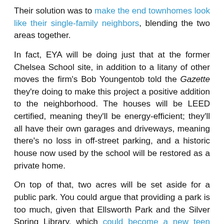Their solution was to make the end townhomes look like their single-family neighbors, blending the two areas together.
In fact, EYA will be doing just that at the former Chelsea School site, in addition to a litany of other moves the firm's Bob Youngentob told the Gazette they're doing to make this project a positive addition to the neighborhood. The houses will be LEED certified, meaning they'll be energy-efficient; they'll all have their own garages and driveways, meaning there's no loss in off-street parking, and a historic house now used by the school will be restored as a private home.
On top of that, two acres will be set aside for a public park. You could argue that providing a park is too much, given that Ellsworth Park and the Silver Spring Library, which could become a new teen center, are already across the street.
[Figure (photo): Outdoor photograph showing trees with leafy canopy in foreground and a building structure visible on the right side]